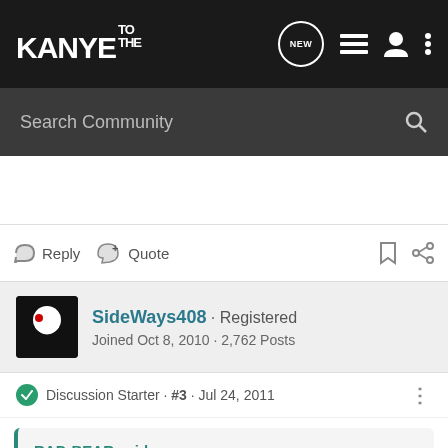KANYE TO THE
Search Community
Reply  Quote
SideWays408 · Registered
Joined Oct 8, 2010 · 2,762 Posts
Discussion Starter · #3 · Jul 24, 2011
RAD-BEAR said:
Obsessive Compulsive Disorder

www.tiny.cc/s3ep2